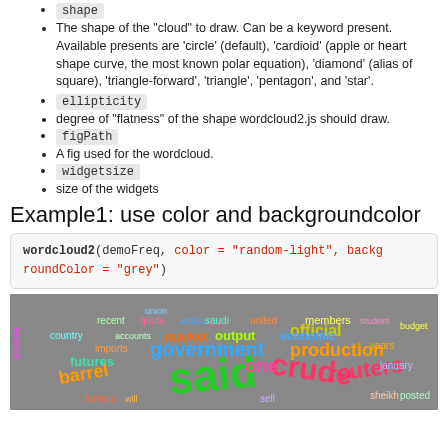shape
The shape of the “cloud” to draw. Can be a keyword present. Available presents are ‘circle’ (default), ‘cardioid’ (apple or heart shape curve, the most known polar equation), ‘diamond’ (alias of square), ‘triangle-forward’, ‘triangle’, ‘pentagon’, and ‘star’.
ellipticity
degree of “flatness” of the shape wordcloud2.js should draw.
figPath
A fig used for the wordcloud.
widgetsize
size of the widgets
Example1: use color and backgroundcolor
wordcloud2(demoFreq, color = "random-light", backgroundColor = "grey")
[Figure (illustration): A word cloud image displayed on a grey background, showing words like 'said', 'crude', 'government', 'production', 'official', 'reuters', 'barrel', 'futures', 'one', 'output', 'economic', 'market', 'members' in various bright colors and sizes.]